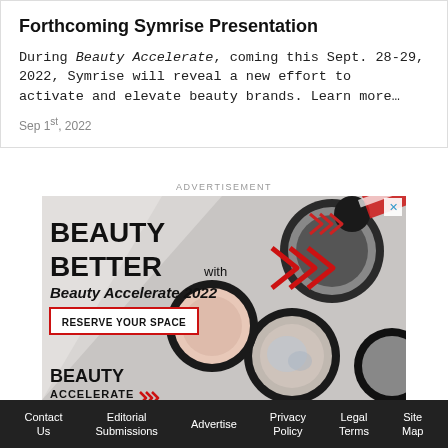Forthcoming Symrise Presentation
During Beauty Accelerate, coming this Sept. 28-29, 2022, Symrise will reveal a new effort to activate and elevate beauty brands. Learn more…
Sep 1st, 2022
ADVERTISEMENT
[Figure (illustration): Beauty Accelerate 2022 advertisement banner featuring beauty products (compacts, powder cases) with bold text 'BEAUTY BETTER with Beauty Accelerate 2022', a red RESERVE YOUR SPACE button, chevron arrow graphics in red, and Beauty Accelerate logo at bottom.]
Contact Us | Editorial Submissions | Advertise | Privacy Policy | Legal Terms | Site Map